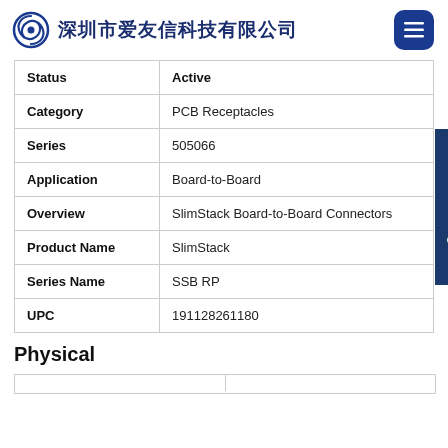深圳市爱友信科技有限公司
| Attribute | Value |
| --- | --- |
| Status | Active |
| Category | PCB Receptacles |
| Series | 505066 |
| Application | Board-to-Board |
| Overview | SlimStack Board-to-Board Connectors |
| Product Name | SlimStack |
| Series Name | SSB RP |
| UPC | 191128261180 |
Physical